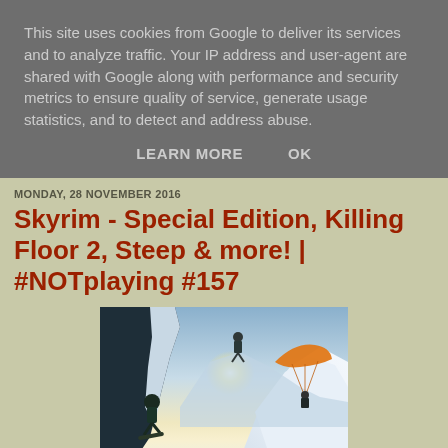This site uses cookies from Google to deliver its services and to analyze traffic. Your IP address and user-agent are shared with Google along with performance and security metrics to ensure quality of service, generate usage statistics, and to detect and address abuse.
LEARN MORE   OK
MONDAY, 28 NOVEMBER 2016
Skyrim - Special Edition, Killing Floor 2, Steep & more! | #NOTplaying #157
[Figure (photo): Action outdoor winter sports photo showing a snowboarder on a snowy mountain slope on the left, a person doing a jump/trick in the air in the center, and an orange paraglider on the right, with bright sunlight and snow-capped mountains in the background.]